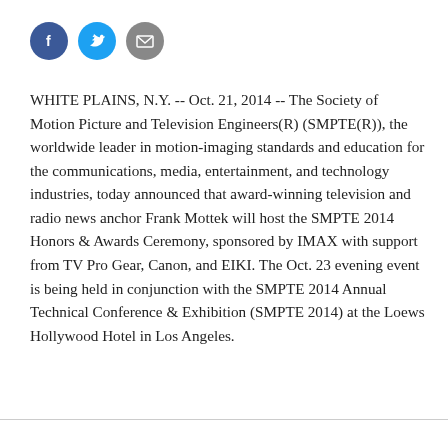[Figure (other): Three social media/share icons: Facebook (blue circle with f), Twitter (blue circle with bird), and Email (grey circle with envelope)]
WHITE PLAINS, N.Y. -- Oct. 21, 2014 -- The Society of Motion Picture and Television Engineers(R) (SMPTE(R)), the worldwide leader in motion-imaging standards and education for the communications, media, entertainment, and technology industries, today announced that award-winning television and radio news anchor Frank Mottek will host the SMPTE 2014 Honors & Awards Ceremony, sponsored by IMAX with support from TV Pro Gear, Canon, and EIKI. The Oct. 23 evening event is being held in conjunction with the SMPTE 2014 Annual Technical Conference & Exhibition (SMPTE 2014) at the Loews Hollywood Hotel in Los Angeles.